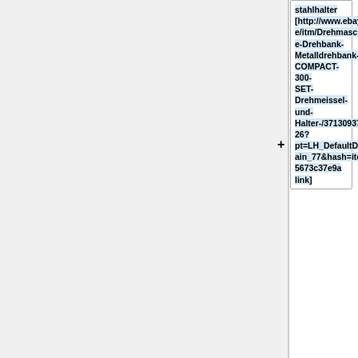stahlhalter [http://www.ebay.de/itm/Drehmaschine-Drehbank-Metalldrehbank-COMPACT-300-SET-Drehmeissel-und-Halter-/371309379226?pt=LH_DefaultDomain_77&hash=item5673c37e9a link]
* 680eur 40kg dema 90mm quer 15mm spindel + hm platten meissen + messuhr [http://www.ebay.de/itm/Drehmaschine-Drehbank-Metalldrehbank-COMPACT-300-SET-HM-